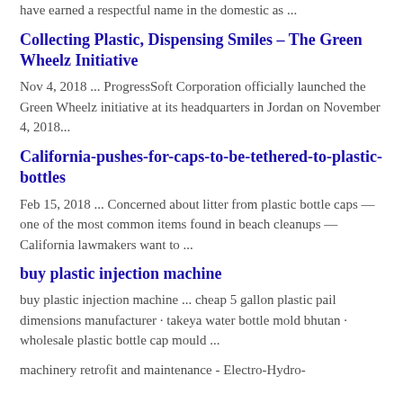have earned a respectful name in the domestic as ...
Collecting Plastic, Dispensing Smiles – The Green Wheelz Initiative
Nov 4, 2018 ... ProgressSoft Corporation officially launched the Green Wheelz initiative at its headquarters in Jordan on November 4, 2018...
California-pushes-for-caps-to-be-tethered-to-plastic-bottles
Feb 15, 2018 ... Concerned about litter from plastic bottle caps — one of the most common items found in beach cleanups — California lawmakers want to ...
buy plastic injection machine
buy plastic injection machine ... cheap 5 gallon plastic pail dimensions manufacturer · takeya water bottle mold bhutan · wholesale plastic bottle cap mould ...
machinery retrofit and maintenance - Electro-Hydro-